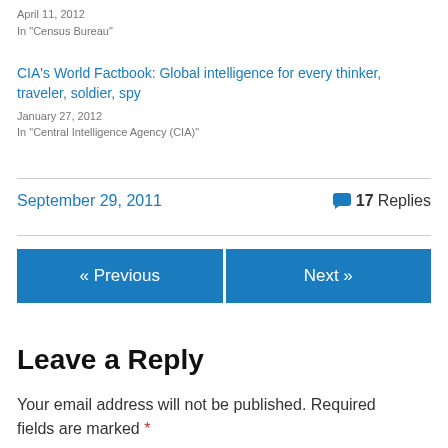April 11, 2012
In "Census Bureau"
CIA's World Factbook: Global intelligence for every thinker, traveler, soldier, spy
January 27, 2012
In "Central Intelligence Agency (CIA)"
September 29, 2011 · 17 Replies
« Previous
Next »
Leave a Reply
Your email address will not be published. Required fields are marked *